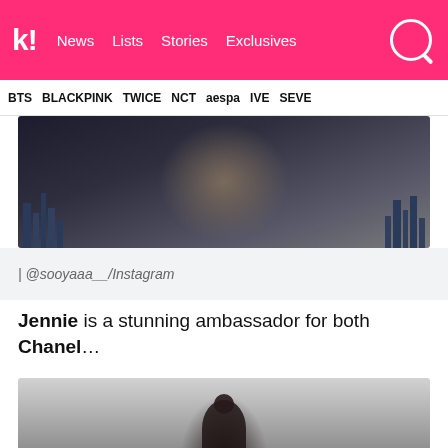k! News Lists Stories Exclusives
BTS BLACKPINK TWICE NCT aespa IVE SEVE
[Figure (photo): Partial photo of a person in dark clothing with city skyline in background]
| @sooyaaa__/Instagram
Jennie is a stunning ambassador for both Chanel…
[Figure (photo): Black and white photo of Jennie from BLACKPINK in editorial fashion setting]